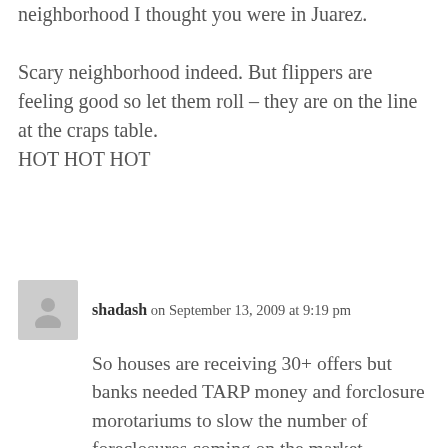neighborhood I thought you were in Juarez.
Scary neighborhood indeed. But flippers are feeling good so let them roll – they are on the line at the craps table.
HOT HOT HOT
shadash on September 13, 2009 at 9:19 pm
So houses are receiving 30+ offers but banks needed TARP money and forclosure morotariums to slow the number of foreclosures coming on the market.